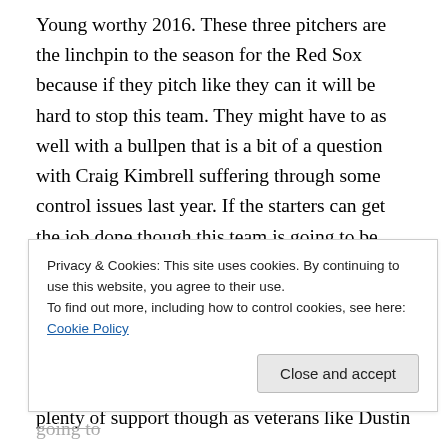Young worthy 2016. These three pitchers are the linchpin to the season for the Red Sox because if they pitch like they can it will be hard to stop this team. They might have to as well with a bullpen that is a bit of a question with Craig Kimbrell suffering through some control issues last year. If the starters can get the job done though this team is going to be tough to beat because there will be plenty of support from the batting order. There is no doubt that the loss of “Big Papi” David Ortiz will hurt as he continued to be the best DH in baseball in his final season. They still have plenty of support though as veterans like Dustin
Privacy & Cookies: This site uses cookies. By continuing to use this website, you agree to their use.
To find out more, including how to control cookies, see here: Cookie Policy
Close and accept
produce with the best but has struggled since going to